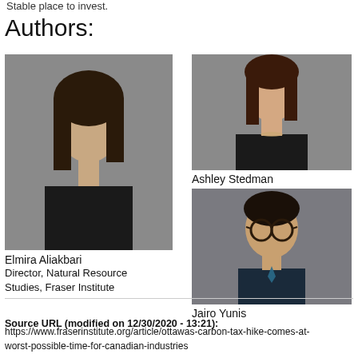Stable place to invest.
Authors:
[Figure (photo): Headshot photo of Elmira Aliakbari, a woman with long dark hair wearing dark clothing, against a grey background]
Elmira Aliakbari
Director, Natural Resource Studies, Fraser Institute
[Figure (photo): Headshot photo of Ashley Stedman, a woman with long dark hair wearing dark clothing with a necklace, against a grey background]
Ashley Stedman
[Figure (photo): Headshot photo of Jairo Yunis, a young man with dark hair wearing glasses and a suit with a tie, against a grey background]
Jairo Yunis
Source URL (modified on 12/30/2020 - 13:21):
https://www.fraserinstitute.org/article/ottawas-carbon-tax-hike-comes-at-worst-possible-time-for-canadian-industries